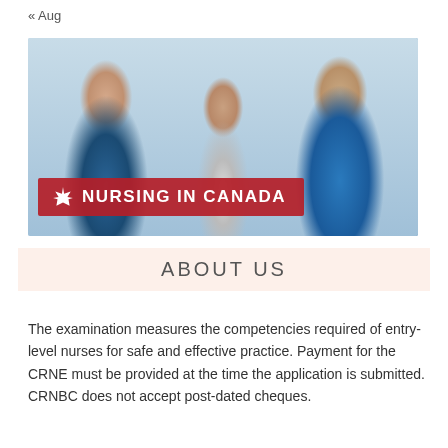« Aug
[Figure (photo): Three medical professionals smiling — two in blue scrubs and one in a white coat — with a red banner overlay reading '🍁 NURSING IN CANADA']
ABOUT US
The examination measures the competencies required of entry-level nurses for safe and effective practice. Payment for the CRNE must be provided at the time the application is submitted. CRNBC does not accept post-dated cheques.